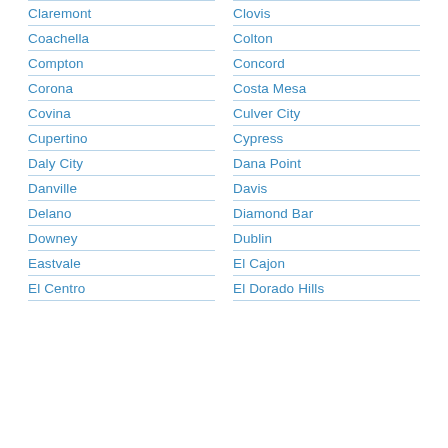Claremont
Clovis
Coachella
Colton
Compton
Concord
Corona
Costa Mesa
Covina
Culver City
Cupertino
Cypress
Daly City
Dana Point
Danville
Davis
Delano
Diamond Bar
Downey
Dublin
Eastvale
El Cajon
El Centro
El Dorado Hills